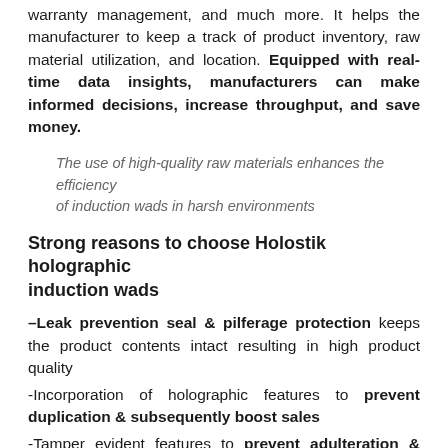warranty management, and much more. It helps the manufacturer to keep a track of product inventory, raw material utilization, and location. Equipped with real-time data insights, manufacturers can make informed decisions, increase throughput, and save money.
The use of high-quality raw materials enhances the efficiency of induction wads in harsh environments
Strong reasons to choose Holostik holographic induction wads
–Leak prevention seal & pilferage protection keeps the product contents intact resulting in high product quality
-Incorporation of holographic features to prevent duplication & subsequently boost sales
-Tamper evident features to prevent adulteration & tampering ensures a high-quality end product
–Integration of QR code results in managing digital product authentication & efficient supply chain